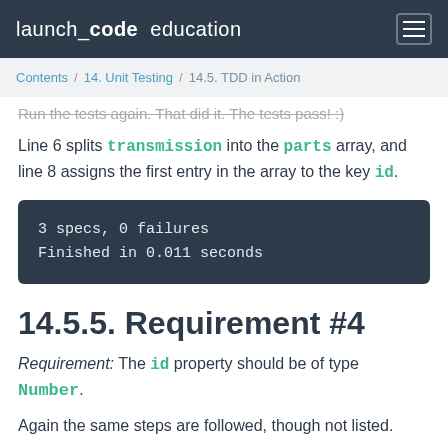launch_code education
Contents / 14. Unit Testing / 14.5. TDD in Action
Run the tests again. That did it. The tests pass! :)
Line 6 splits transmission into the parts array, and line 8 assigns the first entry in the array to the key id.
[Figure (screenshot): Code output block showing: 3 specs, 0 failures / Finished in 0.011 seconds]
14.5.5. Requirement #4
Requirement: The id property should be of type Number.
Again the same steps are followed, though not listed.